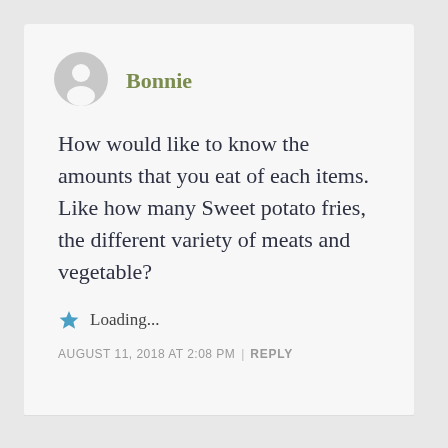[Figure (illustration): Generic user avatar icon — grey circle with stylized person silhouette]
Bonnie
How would like to know the amounts that you eat of each items. Like how many Sweet potato fries, the different variety of meats and vegetable?
Loading...
AUGUST 11, 2018 AT 2:08 PM | REPLY